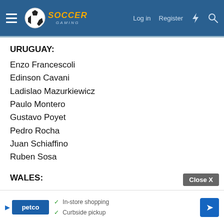[Figure (screenshot): Soccer Gaming website navigation bar with hamburger menu, soccer ball logo, log in, register, lightning bolt and search icons on teal/blue background]
URUGUAY:
Enzo Francescoli
Edinson Cavani
Ladislao Mazurkiewicz
Paulo Montero
Gustavo Poyet
Pedro Rocha
Juan Schiaffino
Ruben Sosa
WALES:
Mark Hughes
Ian Rush
John Ch...
Dean Sa...
[Figure (screenshot): Advertisement overlay showing Petco logo with 'In-store shopping' and 'Curbside pickup' checkmarks, a Close X button, and a blue navigation arrow]